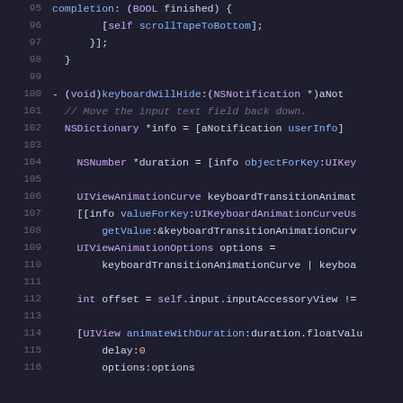Source code listing showing Objective-C keyboardWillHide method implementation, lines 95-116